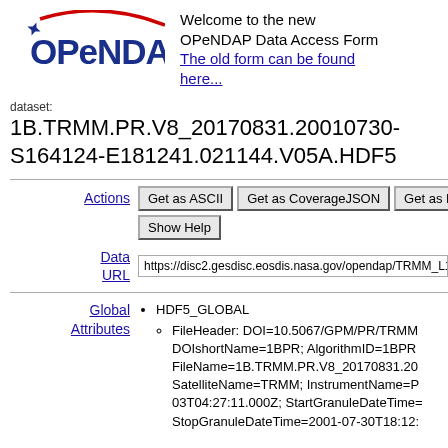[Figure (logo): OPeNDAP logo with blue text and red arc]
Welcome to the new OPeNDAP Data Access Form
The old form can be found here...
dataset: 1B.TRMM.PR.V8_20170831.20010730-S164124-E181241.021144.V05A.HDF5
Actions
Get as ASCII | Get as CoverageJSON | Get as NetCDF 3 | Show Help
Data URL
https://disc2.gesdisc.eosdis.nasa.gov/opendap/TRMM_L1/G...
Global Attributes
HDF5_GLOBAL
FileHeader: DOI=10.5067/GPM/PR/TRMM... DOIshortName=1BPR; AlgorithmID=1BPR... FileName=1B.TRMM.PR.V8_20170831.20... SatelliteName=TRMM; InstrumentName=P... 03T04:27:11.000Z; StartGranuleDateTime=... StopGranuleDateTime=2001-07-30T18:12:...